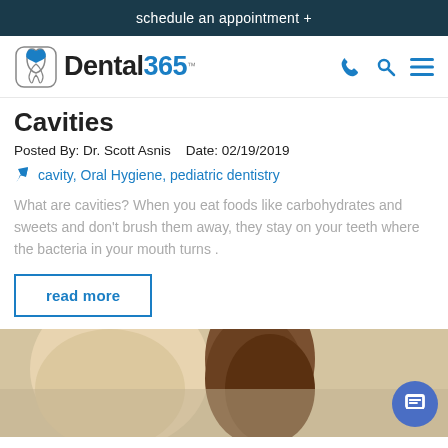schedule an appointment +
[Figure (logo): Dental365 logo with tooth/heart icon]
Cavities
Posted By: Dr. Scott Asnis   Date: 02/19/2019
cavity, Oral Hygiene, pediatric dentistry
What are cavities? When you eat foods like carbohydrates and sweets and don't brush them away, they stay on your teeth where the bacteria in your mouth turns .
read more
[Figure (photo): A person hugging a child, partially visible, warm tones]